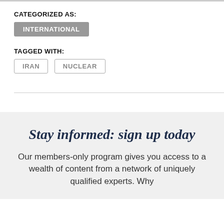CATEGORIZED AS:
INTERNATIONAL
TAGGED WITH:
IRAN
NUCLEAR
Stay informed: sign up today
Our members-only program gives you access to a wealth of content from a network of uniquely qualified experts. Why